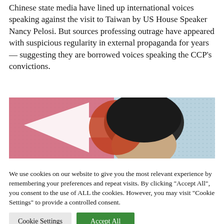Chinese state media have lined up international voices speaking against the visit to Taiwan by US House Speaker Nancy Pelosi. But sources professing outrage have appeared with suspicious regularity in external propaganda for years — suggesting they are borrowed voices speaking the CCP's convictions.
[Figure (photo): Partial photo of a person with red hair against a light blue dotted background with a pink star shape on the left side, cropped to show only the top of the head and forehead.]
We use cookies on our website to give you the most relevant experience by remembering your preferences and repeat visits. By clicking "Accept All", you consent to the use of ALL the cookies. However, you may visit "Cookie Settings" to provide a controlled consent.